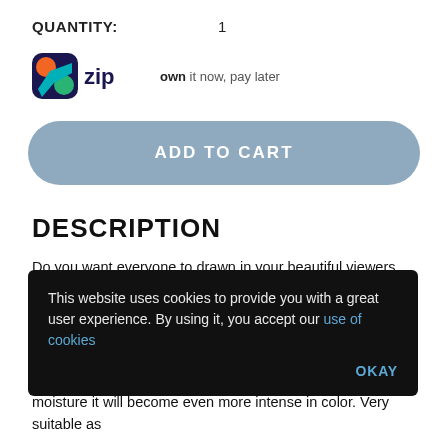QUANTITY: 1
[Figure (logo): Zip logo with tagline: own it now, pay later]
ADD TO CART
DESCRIPTION
Do you want everyone to drawn in your beautiful viewers, then attract attention with this beautiful Eyeshadow Lumiere! Make your eyes stand out with this gorgeous shadow palette. Allow a fine dusting on dry skin for a subtle effect with moisture it will become even more intense in color. Very suitable as
This website uses cookies to provide you with a great user experience. By using it, you accept our use of cookies